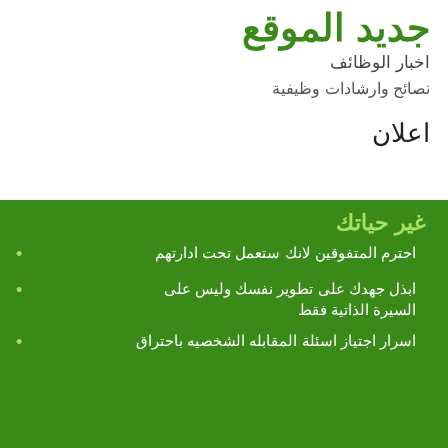جديد الموقع
اخبار الوظائف
نصائح وارشادات وظيفية
اعلان
غير حياتك
احترم المتفوقين لانك ستعمل تحت ادارتهم
ابذل جهدك على تطوير نفسك وليس على السيرة الذاتية فقط
اسرار اجتياز اسئلة المقابله الشخصيه باحتراق